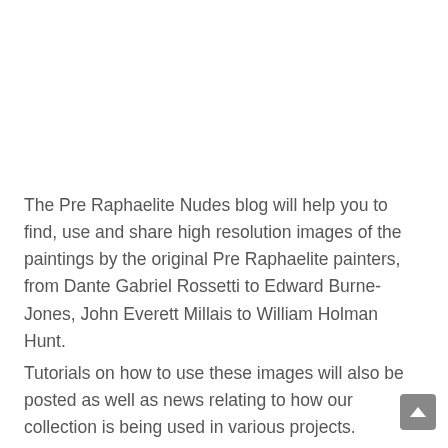The Pre Raphaelite Nudes blog will help you to find, use and share high resolution images of the paintings by the original Pre Raphaelite painters, from Dante Gabriel Rossetti to Edward Burne-Jones, John Everett Millais to William Holman Hunt.
Tutorials on how to use these images will also be posted as well as news relating to how our collection is being used in various projects.